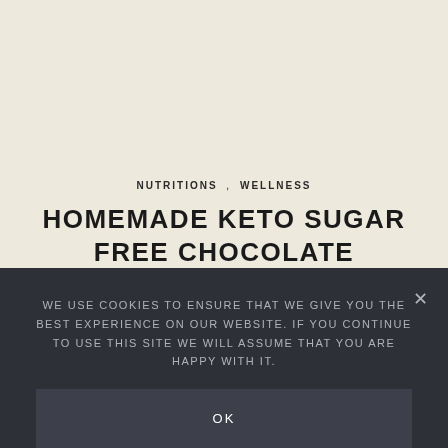NUTRITIONS , WELLNESS
HOMEMADE KETO SUGAR FREE CHOCOLATE MOUSSE IN JAR
27 NOVEMBER 2018   NO COMMENTS
WE USE COOKIES TO ENSURE THAT WE GIVE YOU THE BEST EXPERIENCE ON OUR WEBSITE. IF YOU CONTINUE TO USE THIS SITE WE WILL ASSUME THAT YOU ARE HAPPY WITH IT.
OK